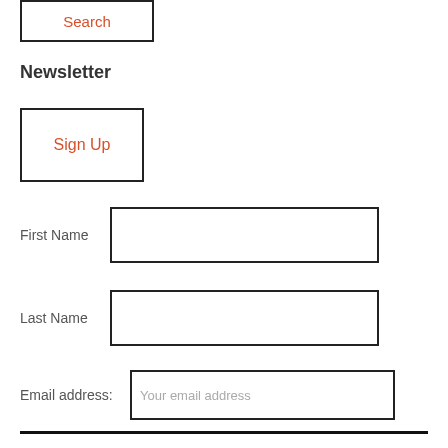Search
Newsletter
Sign Up
First Name
Last Name
Email address: Your email address